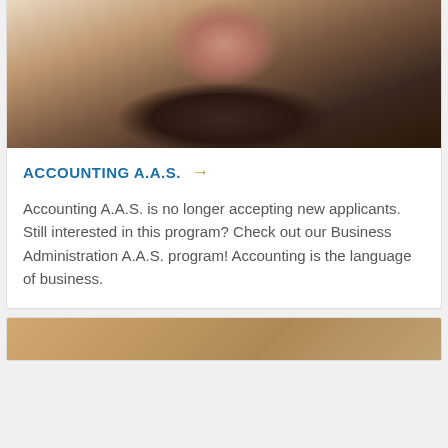[Figure (photo): Close-up photo of a student's face/profile, partially visible, looking upward]
ACCOUNTING A.A.S. →
Accounting A.A.S. is no longer accepting new applicants. Still interested in this program? Check out our Business Administration A.A.S. program! Accounting is the language of business.
[Figure (photo): Partial photo of another person, cropped at bottom of page]